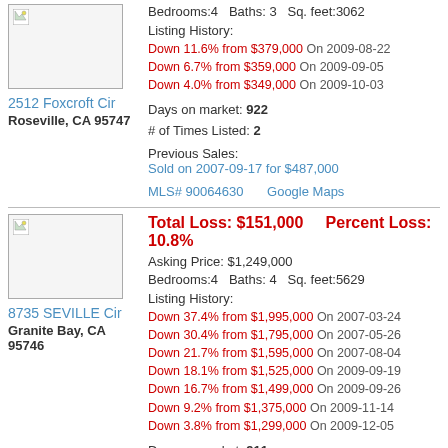Bedrooms:4  Baths: 3  Sq. feet:3062
Listing History:
Down 11.6% from $379,000 On 2009-08-22
Down 6.7% from $359,000 On 2009-09-05
Down 4.0% from $349,000 On 2009-10-03
Days on market: 922
# of Times Listed: 2
Previous Sales:
Sold on 2007-09-17 for $487,000
MLS# 90064630    Google Maps
2512 Foxcroft Cir
Roseville, CA 95747
Total Loss: $151,000    Percent Loss: 10.8%
Asking Price: $1,249,000
Bedrooms:4  Baths: 4  Sq. feet:5629
Listing History:
Down 37.4% from $1,995,000 On 2007-03-24
Down 30.4% from $1,795,000 On 2007-05-26
Down 21.7% from $1,595,000 On 2007-08-04
Down 18.1% from $1,525,000 On 2009-09-19
Down 16.7% from $1,499,000 On 2009-09-26
Down 9.2% from $1,375,000 On 2009-11-14
Down 3.8% from $1,299,000 On 2009-12-05
Days on market: 911
# of Times Listed: 4
8735 SEVILLE Cir
Granite Bay, CA 95746